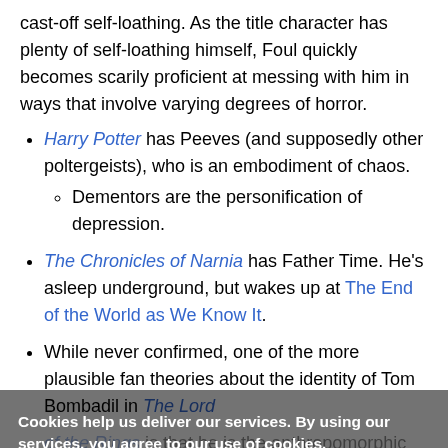cast-off self-loathing. As the title character has plenty of self-loathing himself, Foul quickly becomes scarily proficient at messing with him in ways that involve varying degrees of horror.
Harry Potter has Peeves (and supposedly other poltergeists), who is an embodiment of chaos.
Dementors are the personification of depression.
The Chronicles of Narnia has Father Time. He's asleep underground, but wakes up at The End of the World as We Know It.
While never confirmed, one of the more plausible fan theories about the identity of Tom Bombadil in The Lord ...
James Stod... and The False House features Old Man Chaos...
Cookies help us deliver our services. By using our services, you agree to our use of cookies. [More information] [OK]